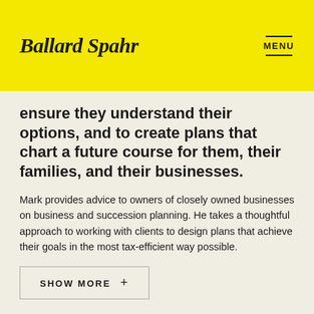Ballard Spahr
ensure they understand their options, and to create plans that chart a future course for them, their families, and their businesses.
Mark provides advice to owners of closely owned businesses on business and succession planning. He takes a thoughtful approach to working with clients to design plans that achieve their goals in the most tax-efficient way possible.
SHOW MORE +
Services